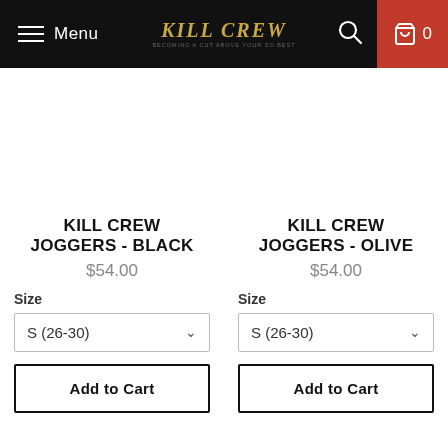Menu | KILL CREW | 0
KILL CREW JOGGERS - BLACK
$54.00
Size
S (26-30)
Add to Cart
KILL CREW JOGGERS - OLIVE
$54.00
Size
S (26-30)
Add to Cart